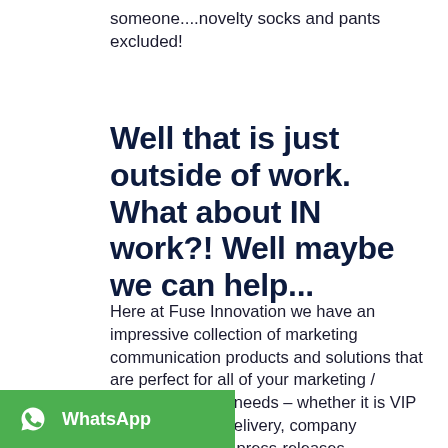someone....novelty socks and pants excluded!
Well that is just outside of work.  What about IN work?!  Well maybe we can help...
Here at Fuse Innovation we have an impressive collection of marketing communication products and solutions that are perfect for all of your marketing / communications needs – whether it is VIP invites, content delivery, company announcements, press-releases, training/education, product showreels, promotions, direct mail,
[Figure (other): WhatsApp chat button bar at bottom of page, green background with WhatsApp icon and text 'WhatsApp']